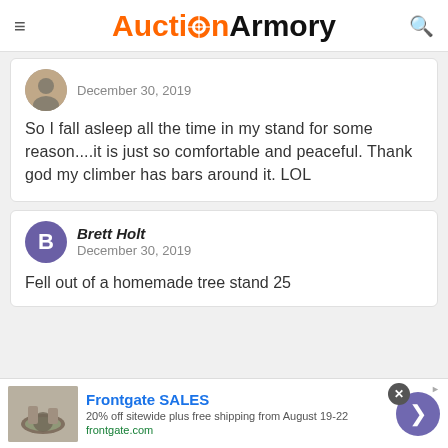Auction Armory
December 30, 2019
So I fall asleep all the time in my stand for some reason....it is just so comfortable and peaceful. Thank god my climber has bars around it. LOL
Brett Holt
December 30, 2019
Fell out of a homemade tree stand 25
Frontgate SALES
20% off sitewide plus free shipping from August 19-22
frontgate.com